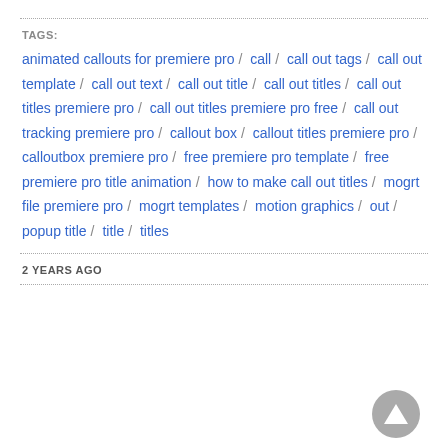TAGS:
animated callouts for premiere pro / call / call out tags / call out template / call out text / call out title / call out titles / call out titles premiere pro / call out titles premiere pro free / call out tracking premiere pro / callout box / callout titles premiere pro / calloutbox premiere pro / free premiere pro template / free premiere pro title animation / how to make call out titles / mogrt file premiere pro / mogrt templates / motion graphics / out / popup title / title / titles
2 YEARS AGO